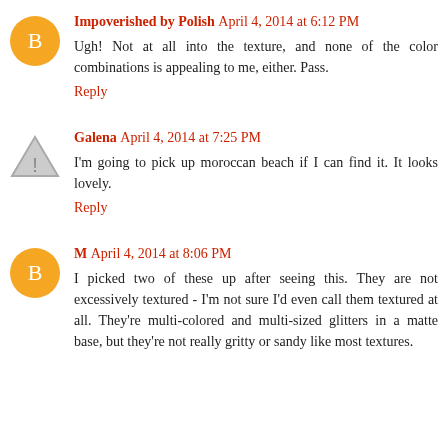Impoverished by Polish April 4, 2014 at 6:12 PM
Ugh! Not at all into the texture, and none of the color combinations is appealing to me, either. Pass.
Reply
Galena April 4, 2014 at 7:25 PM
I'm going to pick up moroccan beach if I can find it. It looks lovely.
Reply
M April 4, 2014 at 8:06 PM
I picked two of these up after seeing this. They are not excessively textured - I'm not sure I'd even call them textured at all. They're multi-colored and multi-sized glitters in a matte base, but they're not really gritty or sandy like most textures.